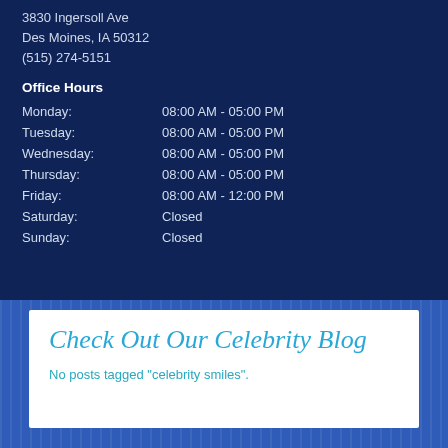3830 Ingersoll Ave
Des Moines, IA 50312
(515) 274-5151
Office Hours
| Day | Hours |
| --- | --- |
| Monday: | 08:00 AM - 05:00 PM |
| Tuesday: | 08:00 AM - 05:00 PM |
| Wednesday: | 08:00 AM - 05:00 PM |
| Thursday: | 08:00 AM - 05:00 PM |
| Friday: | 08:00 AM - 12:00 PM |
| Saturday: | Closed |
| Sunday: | Closed |
Check Out Our Celebrity Blog
No posts tagged "celebrity smiles".